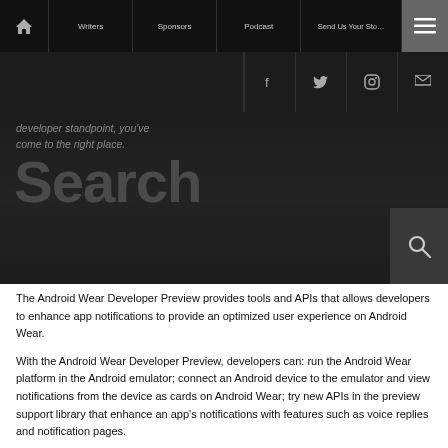Home | Writers | Sponsors | Podcast | Send Us Your Story | Menu
developer standpoint, you've come to the right place.
Search
The Android Wear Developer Preview provides tools and APIs that allows developers to enhance app notifications to provide an optimized user experience on Android Wear.
With the Android Wear Developer Preview, developers can: run the Android Wear platform in the Android emulator; connect an Android device to the emulator and view notifications from the device as cards on Android Wear; try new APIs in the preview support library that enhance an app's notifications with features such as voice replies and notification pages.